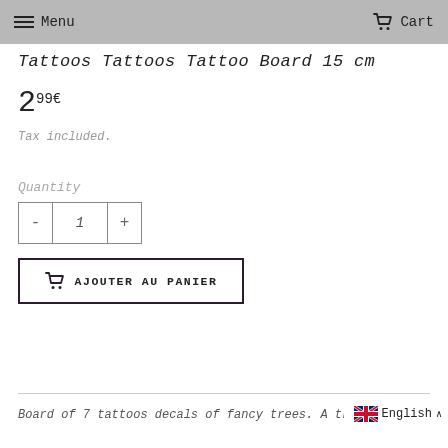Menu   Cart
Tattoos Tattoos Tattoo Board 15 cm
2⁹⁹€
Tax included.
Quantity
- 1 +
AJOUTER AU PANIER
Board of 7 tattoos decals of fancy trees. A tree
English